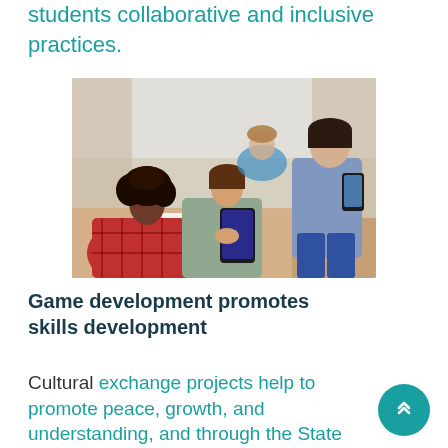students collaborative and inclusive practices.
[Figure (photo): Students in a classroom collaboratively using mobile devices and tablets, working on a game development activity.]
Game development promotes skills development
Cultural exchange projects help to promote peace, growth, and understanding, and through the State